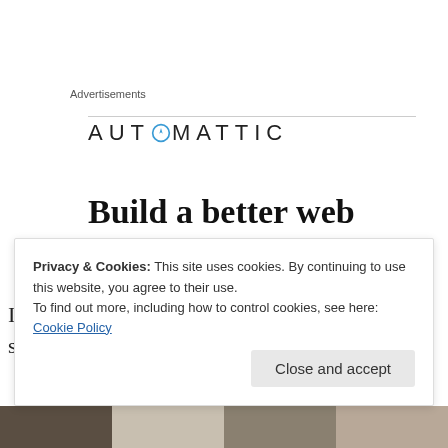Advertisements
[Figure (logo): Automattic logo — company name in spaced capital letters with a compass icon replacing the letter O]
Build a better web and a better world.
Inside, at the back, is a tidy room where the stocks are
Privacy & Cookies: This site uses cookies. By continuing to use this website, you agree to their use.
To find out more, including how to control cookies, see here: Cookie Policy
Close and accept
[Figure (photo): Bottom strip showing partial interior/room photographs]